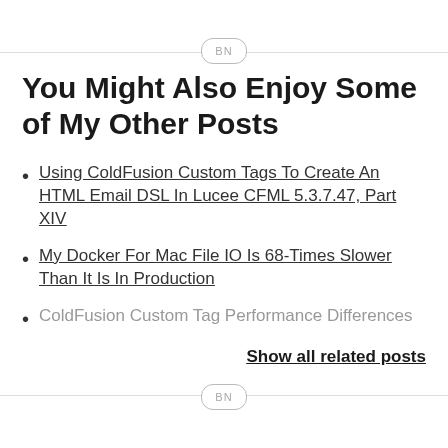BN
You Might Also Enjoy Some of My Other Posts
Using ColdFusion Custom Tags To Create An HTML Email DSL In Lucee CFML 5.3.7.47, Part XIV
My Docker For Mac File IO Is 68-Times Slower Than It Is In Production
ColdFusion Custom Tag Performance Differences
Show all related posts
BN